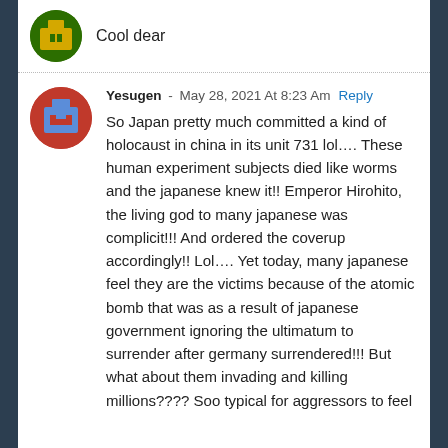Cool dear
Yesugen - May 28, 2021 At 8:23 Am Reply
So Japan pretty much committed a kind of holocaust in china in its unit 731 lol…. These human experiment subjects died like worms and the japanese knew it!! Emperor Hirohito, the living god to many japanese was complicit!!! And ordered the coverup accordingly!! Lol…. Yet today, many japanese feel they are the victims because of the atomic bomb that was as a result of japanese government ignoring the ultimatum to surrender after germany surrendered!!! But what about them invading and killing millions???? Soo typical for aggressors to feel